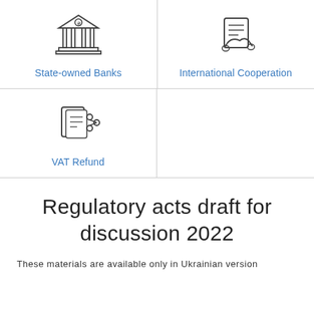[Figure (illustration): Icon of a classical bank building with columns and a coin symbol, representing State-owned Banks]
State-owned Banks
[Figure (illustration): Icon of a handshake over a document, representing International Cooperation]
International Cooperation
[Figure (illustration): Icon of a document with lines and an arrow/share symbol, representing VAT Refund]
VAT Refund
Regulatory acts draft for discussion 2022
These materials are available only in Ukrainian version